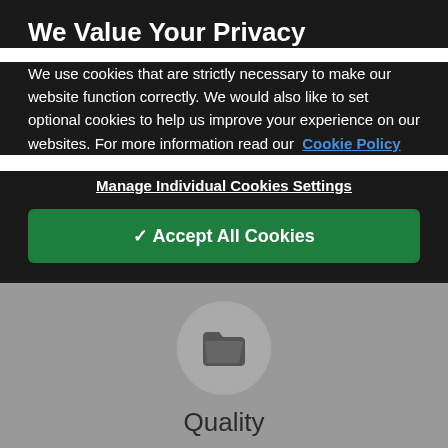We Value Your Privacy
We use cookies that are strictly necessary to make our website function correctly. We would also like to set optional cookies to help us improve your experience on our websites. For more information read our Cookie Policy
Manage Individual Cookies Settings
✔ Accept All Cookies
[Figure (illustration): A folder icon inside a circle, representing a category or section icon on a gray background]
Quality
The very best quality is a given in everything we